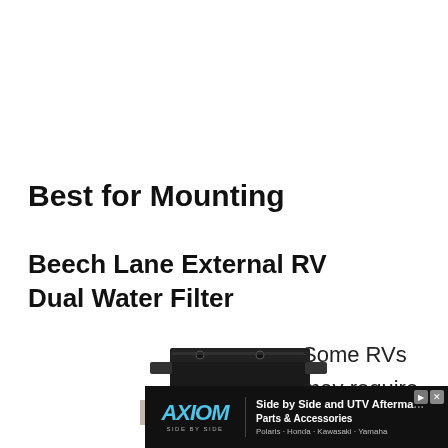Best for Mounting
Beech Lane External RV Dual Water Filter
[Figure (photo): Photo of a black metal dual water filter mounting bracket/unit for RVs, viewed from front/top angle showing mounting holes and filter housings.]
Some RVs may require
[Figure (infographic): Advertisement banner for AXIOM Side by Side - Side by Side and UTV Aftermarket Parts & Accessories. Polaris · Honda · Kawasaki · Yamaha]